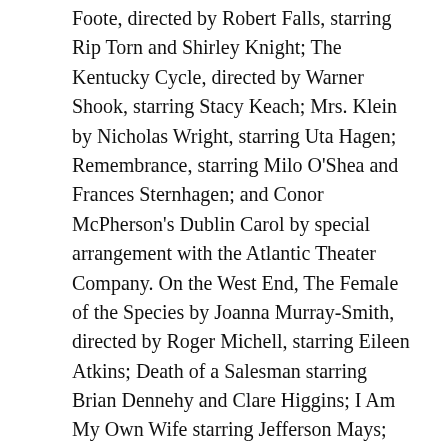Foote, directed by Robert Falls, starring Rip Torn and Shirley Knight; The Kentucky Cycle, directed by Warner Shook, starring Stacy Keach; Mrs. Klein by Nicholas Wright, starring Uta Hagen; Remembrance, starring Milo O'Shea and Frances Sternhagen; and Conor McPherson's Dublin Carol by special arrangement with the Atlantic Theater Company. On the West End, The Female of the Species by Joanna Murray-Smith, directed by Roger Michell, starring Eileen Atkins; Death of a Salesman starring Brian Dennehy and Clare Higgins; I Am My Own Wife starring Jefferson Mays; and co-produced the world premiere of David Mamet's The Cryptogram and Katherine Burger's Morphic Resonance. Motion pictures include the soon to be released The Other Man, co-written and directed by Richard Eyre, starring Liam Neeson, Laura Linney and Antonio Banderas; Tape, directed by Richard Linklater, starring Uma Thurman, Ethan Hawke and Robert